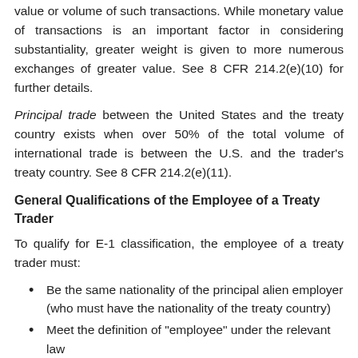value or volume of such transactions. While monetary value of transactions is an important factor in considering substantiality, greater weight is given to more numerous exchanges of greater value. See 8 CFR 214.2(e)(10) for further details.
Principal trade between the United States and the treaty country exists when over 50% of the total volume of international trade is between the U.S. and the trader's treaty country. See 8 CFR 214.2(e)(11).
General Qualifications of the Employee of a Treaty Trader
To qualify for E-1 classification, the employee of a treaty trader must:
Be the same nationality of the principal alien employer (who must have the nationality of the treaty country)
Meet the definition of “employee” under the relevant law
Either be engaging in duties of an executive or supervisory character, or if employed in a lesser capacity, have special qualifications